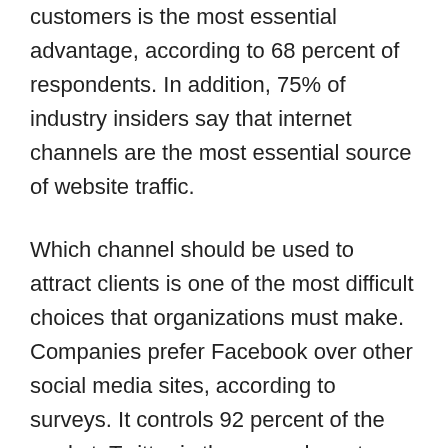customers is the most essential advantage, according to 68 percent of respondents. In addition, 75% of industry insiders say that internet channels are the most essential source of website traffic.
Which channel should be used to attract clients is one of the most difficult choices that organizations must make. Companies prefer Facebook over other social media sites, according to surveys. It controls 92 percent of the market. Twitter is the second most popular social networking site after Facebook, with the most users. Influential people and celebrities often have their own Twitter accounts, which